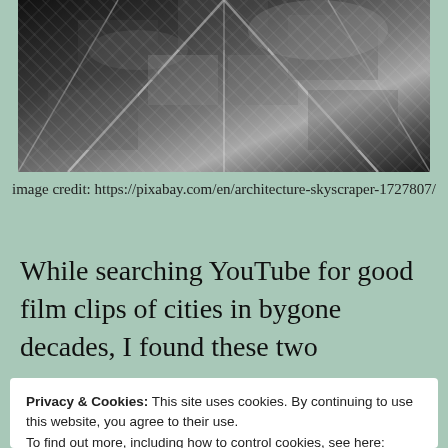[Figure (photo): Black and white upward-looking photograph of a glass skyscraper with geometric steel framing and reflective windows]
image credit: https://pixabay.com/en/architecture-skyscraper-1727807/
While searching YouTube for good film clips of cities in bygone decades, I found these two
Privacy & Cookies: This site uses cookies. By continuing to use this website, you agree to their use.
To find out more, including how to control cookies, see here: Cookie Policy
Close and accept